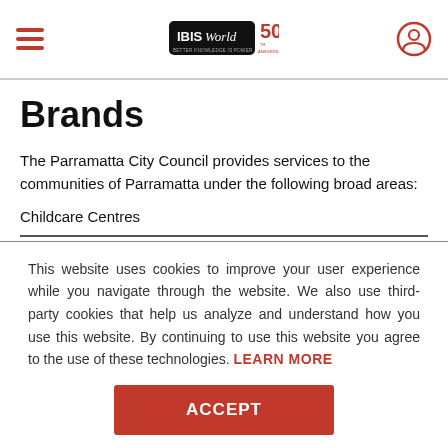IBISWorld 50th Anniversary - navigation bar with hamburger menu and user icon
Brands
The Parramatta City Council provides services to the communities of Parramatta under the following broad areas:
Childcare Centres
This website uses cookies to improve your user experience while you navigate through the website. We also use third-party cookies that help us analyze and understand how you use this website. By continuing to use this website you agree to the use of these technologies. LEARN MORE
ACCEPT